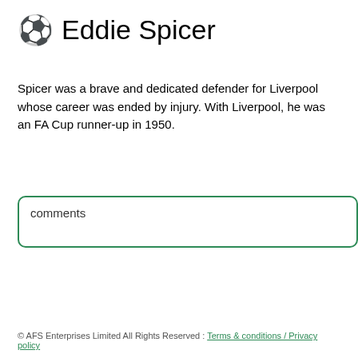⚽ Eddie Spicer
Spicer was a brave and dedicated defender for Liverpool whose career was ended by injury. With Liverpool, he was an FA Cup runner-up in 1950.
comments
© AFS Enterprises Limited All Rights Reserved : Terms & conditions / Privacy policy